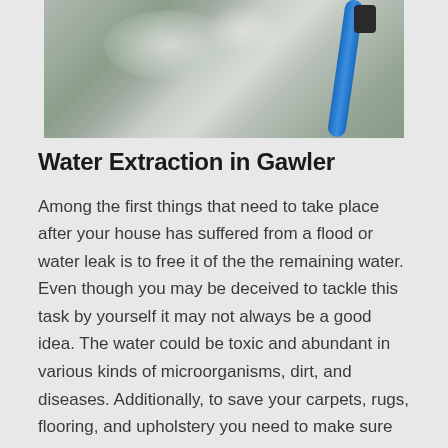[Figure (photo): A carpet or upholstery being cleaned with a water extraction hose — grey/beige fabric surface with wet patches, and a blue extraction hose visible on the right side.]
Water Extraction in Gawler
Among the first things that need to take place after your house has suffered from a flood or water leak is to free it of the the remaining water. Even though you may be deceived to tackle this task by yourself it may not always be a good idea. The water could be toxic and abundant in various kinds of microorganisms, dirt, and diseases. Additionally, to save your carpets, rugs, flooring, and upholstery you need to make sure that the water has been completely eliminated, taking away any